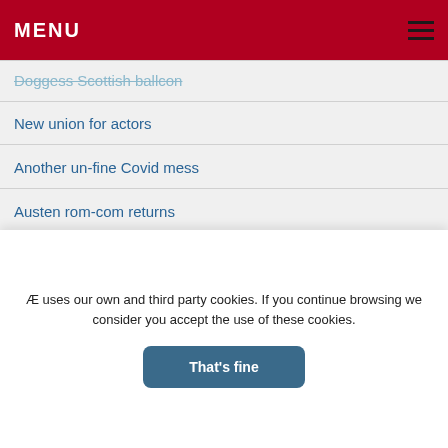MENU
Doggess Scottish ballcon
New union for actors
Another un-fine Covid mess
Austen rom-com returns
Sunshine cancels
Rocky Returns
Our festivals: How?
[Figure (photo): Banner image: We're going back to normal Extraordinary]
[Figure (infographic): Pink banner with logos and icons]
Æ uses our own and third party cookies. If you continue browsing we consider you accept the use of these cookies.
That's fine